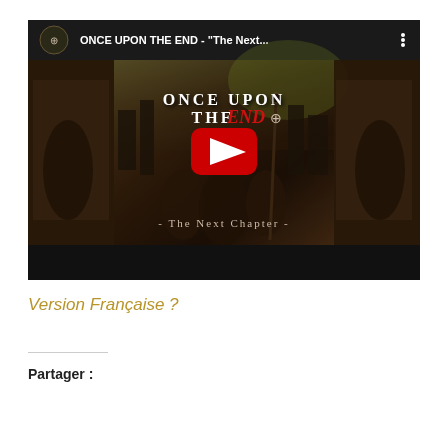[Figure (screenshot): YouTube video thumbnail for 'ONCE UPON THE END - The Next...' showing album art with dark fantasy imagery, robed figures, and a YouTube play button overlay. Channel logo visible in top-left. Title bar reads: ONCE UPON THE END - "The Next..." with three-dot menu icon.]
Version Française ?
Partager :